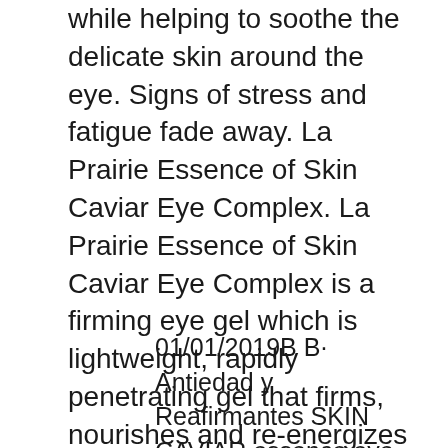while helping to soothe the delicate skin around the eye. Signs of stress and fatigue fade away. La Prairie Essence of Skin Caviar Eye Complex. La Prairie Essence of Skin Caviar Eye Complex is a firming eye gel which is lightweight, rapidly penetrating gel that firms, nourishes and re-energizes the eye zone, improving tone and texture and leaving the delicate skin around the eyes brightened and hydrated.
01/01/2019В В· Antiedad y Reafirmantes SKIN CAVIAR essence eye complex de La Prairie, descГєbrelo dentro de la selecciГin de productos de belleza que tenemos para ti en